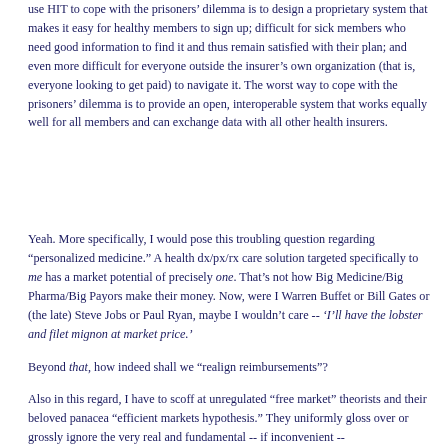use HIT to cope with the prisoners’ dilemma is to design a proprietary system that makes it easy for healthy members to sign up; difficult for sick members who need good information to find it and thus remain satisfied with their plan; and even more difficult for everyone outside the insurer’s own organization (that is, everyone looking to get paid) to navigate it. The worst way to cope with the prisoners’ dilemma is to provide an open, interoperable system that works equally well for all members and can exchange data with all other health insurers.
Yeah. More specifically, I would pose this troubling question regarding "personalized medicine." A health dx/px/rx care solution targeted specifically to me has a market potential of precisely one. That’s not how Big Medicine/Big Pharma/Big Payors make their money. Now, were I Warren Buffet or Bill Gates or (the late) Steve Jobs or Paul Ryan, maybe I wouldn’t care -- ‘I’ll have the lobster and filet mignon at market price.’
Beyond that, how indeed shall we "realign reimbursements"?
Also in this regard, I have to scoff at unregulated "free market" theorists and their beloved panacea "efficient markets hypothesis." They uniformly gloss over or grossly ignore the very real and fundamental -- if inconvenient --